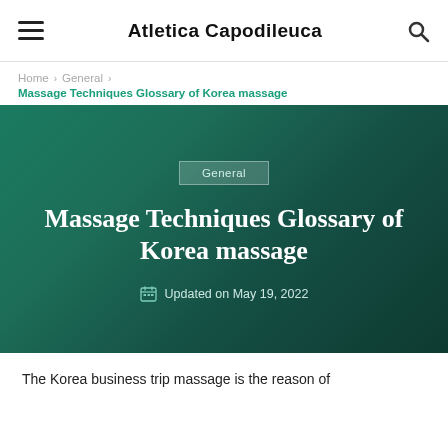Atletica Capodileuca
Home > General > Massage Techniques Glossary of Korea massage
General
Massage Techniques Glossary of Korea massage
Updated on May 19, 2022
The Korea business trip massage is the reason of